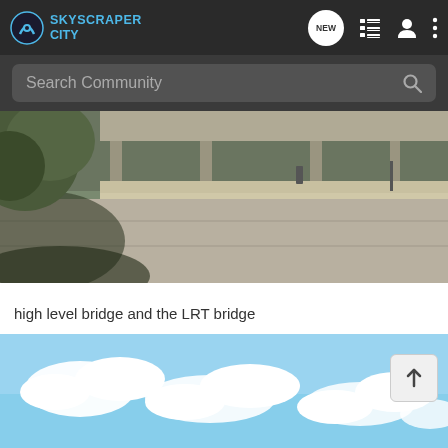SKYSCRAPER CITY
Search Community
[Figure (photo): Street-level view of a concrete walkway and transit platform area with trees casting shadows in the foreground and a covered structure in the background]
high level bridge and the LRT bridge
[Figure (photo): Partial view of a bright blue sky with white clouds, bottom portion of image visible]